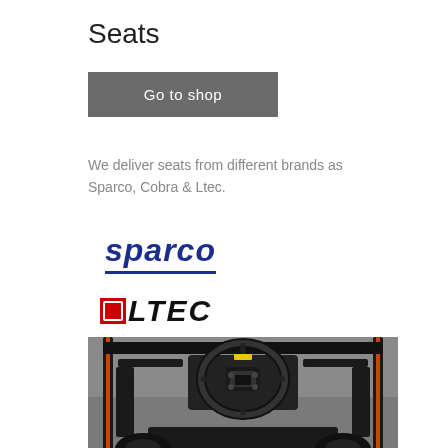Seats
Go to shop
We deliver seats from different brands as Sparco, Cobra & Ltec.
[Figure (logo): Sparco brand logo in dark blue italic text with underline]
[Figure (logo): LTEC brand logo with red square icon and bold italic black text]
[Figure (photo): Racing simulator cockpit viewed from above, showing steering wheel and roll cage with orange accents on grey/black background]